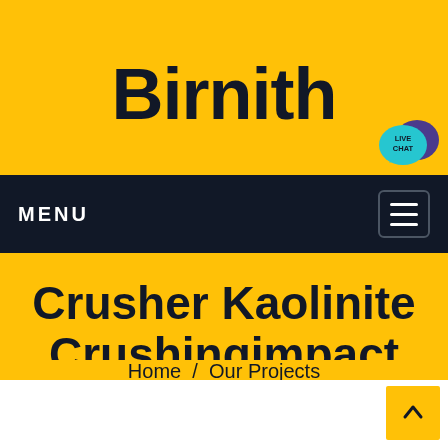Birnith
[Figure (illustration): Live chat speech bubble icon in teal and dark purple]
MENU
Crusher Kaolinite Crushingimpact
Home / Our Projects